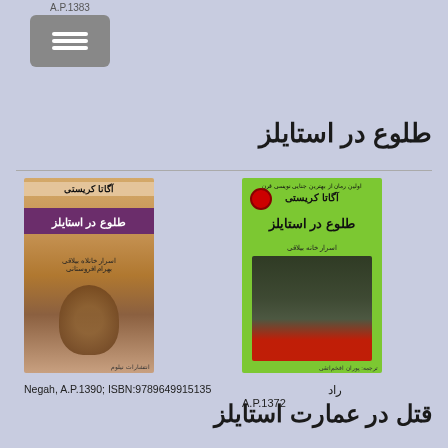A.P.1383
طلوع در استایلز
[Figure (photo): Book cover of 'طلوع در استایلز' by Agatha Christie, tan/brown cover with coffee cup]
Negah, A.P.1390; ISBN:9789649915135
[Figure (photo): Book cover of 'طلوع در استایلز' by Agatha Christie, green cover with detective illustration]
راد
A.P.1372
قتل در عمارت استایلز